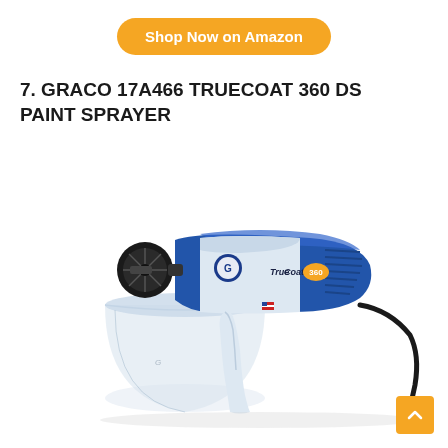Shop Now on Amazon
7. GRACO 17A466 TRUECOAT 360 DS PAINT SPRAYER
[Figure (photo): Graco TrueCoat 360 DS paint sprayer product photo — blue and white electric paint sprayer with a clear plastic container and black cord, TrueCoat 360 DS branding visible on the body.]